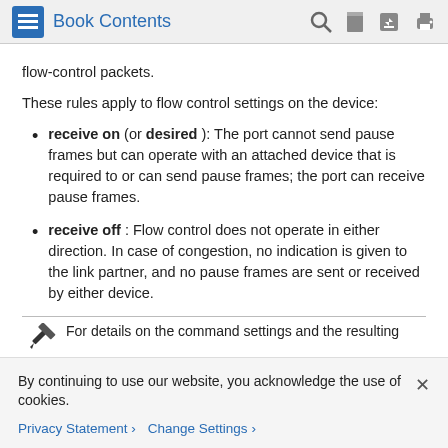Book Contents
flow-control packets.
These rules apply to flow control settings on the device:
receive on (or desired ): The port cannot send pause frames but can operate with an attached device that is required to or can send pause frames; the port can receive pause frames.
receive off : Flow control does not operate in either direction. In case of congestion, no indication is given to the link partner, and no pause frames are sent or received by either device.
For details on the command settings and the resulting
By continuing to use our website, you acknowledge the use of cookies.
Privacy Statement > Change Settings >